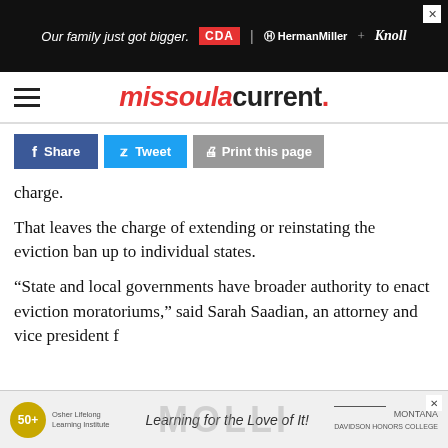[Figure (screenshot): Top advertisement banner: dark background with text 'Our family just got bigger.' CDA | HermanMiller + Knoll logos on red background]
missoula current.
[Figure (screenshot): Social share buttons: Facebook Share, Twitter Tweet, Print this page]
charge.
That leaves the charge of extending or reinstating the eviction ban up to individual states.
“State and local governments have broader authority to enact eviction moratoriums,” said Sarah Saadian, an attorney and vice president f...
[Figure (screenshot): Bottom advertisement: Osher Lifelong Learning Institute - Learning for the Love of It! - MOLLI Montana watermark]